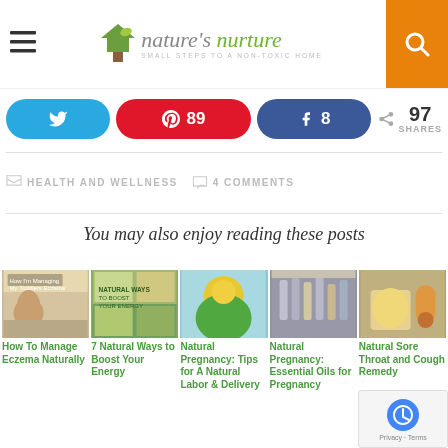nature's nurture — SMALL STEPS TO A NON-TOXIC HOME
Twitter share button | Pinterest 89 | Facebook 8 | 97 SHARES
HEALTH AND WELLNESS   4 COMMENTS
You may also enjoy reading these posts
[Figure (photo): How To Manage Eczema Naturally — thumbnail of child playing in sand]
How To Manage Eczema Naturally
[Figure (photo): 7 Natural Ways to Boost Your Energy — collage of natural foods and energy tips]
7 Natural Ways to Boost Your Energy
[Figure (photo): Natural Pregnancy: Tips for A Natural Labor & Delivery — sunflower image]
Natural Pregnancy: Tips for A Natural Labor & Delivery
[Figure (photo): Natural Pregnancy: Essential Oils for Pregnancy — essential oil bottles]
Natural Pregnancy: Essential Oils for Pregnancy
[Figure (photo): Natural Sore Throat and Cough Remedy — honey jar image]
Natural Sore Throat and Cough Remedy